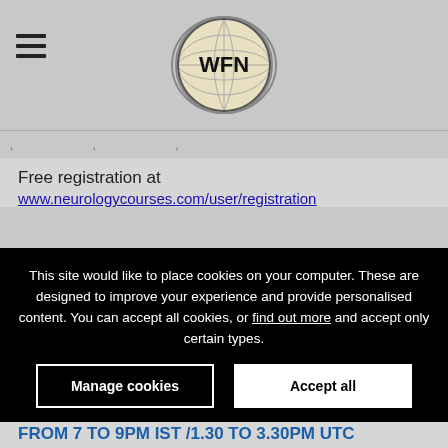[Figure (logo): WFN globe logo with yellow and brown coloring]
navigation menu items (partially visible)
Free registration at www.neurologycourses.com/user/registration
This site would like to place cookies on your computer. These are designed to improve your experience and provide personalised content. You can accept all cookies, or find out more and accept only certain types.
Specialty Group in collaboration with Forum for Indian Neurology Education (FINE).
EVERY SATURDAY STARTING 18TH JULY 2020, FROM 7 TO 9PM IST /1.30 TO 3.30PM UTC
Program dedicated to Prof Jagjit Singh Chopra